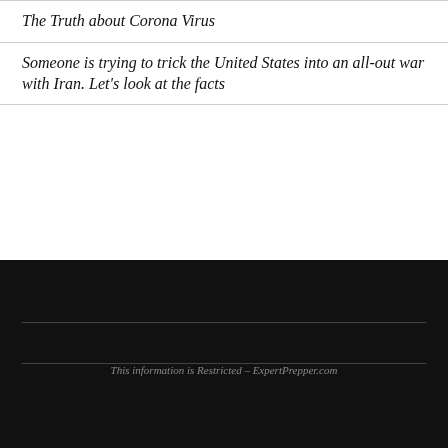The Truth about Corona Virus
Someone is trying to trick the United States into an all-out war with Iran. Let’s look at the facts
This information is Restricted – ExpertPrepper.com